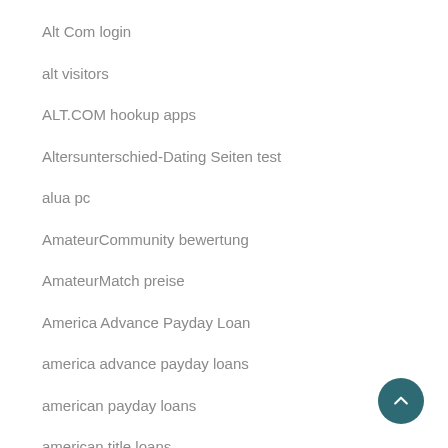Alt Com login
alt visitors
ALT.COM hookup apps
Altersunterschied-Dating Seiten test
alua pc
AmateurCommunity bewertung
AmateurMatch preise
America Advance Payday Loan
america advance payday loans
american payday loans
american title loans
amino hookup hotshot